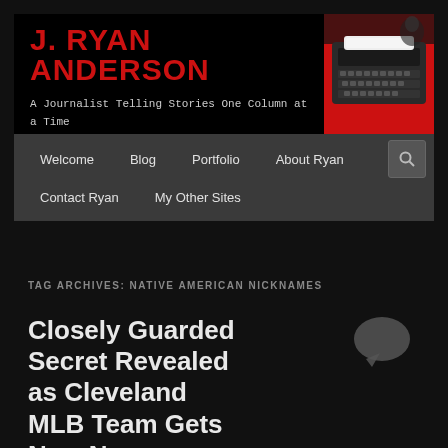J. RYAN ANDERSON
A Journalist Telling Stories One Column at a Time
[Figure (photo): Vintage black typewriter on red background in upper-right corner of header]
Welcome | Blog | Portfolio | About Ryan | Contact Ryan | My Other Sites
TAG ARCHIVES: NATIVE AMERICAN NICKNAMES
Closely Guarded Secret Revealed as Cleveland MLB Team Gets New Name
Posted on July 23, 2021